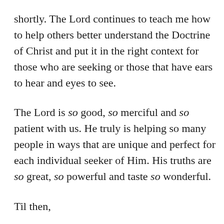shortly. The Lord continues to teach me how to help others better understand the Doctrine of Christ and put it in the right context for those who are seeking or those that have ears to hear and eyes to see.
The Lord is so good, so merciful and so patient with us. He truly is helping so many people in ways that are unique and perfect for each individual seeker of Him. His truths are so great, so powerful and taste so wonderful.
Til then,